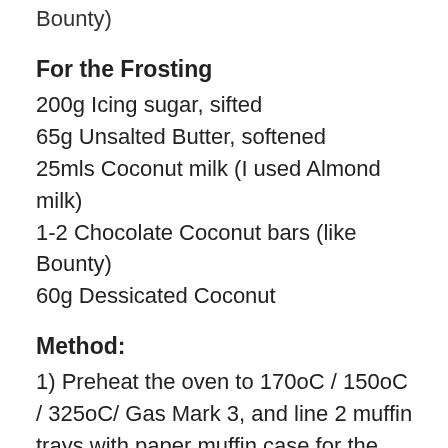Bounty)
For the Frosting
200g Icing sugar, sifted
65g Unsalted Butter, softened
25mls Coconut milk (I used Almond milk)
1-2 Chocolate Coconut bars (like Bounty)
60g Dessicated Coconut
Method:
1) Preheat the oven to 170oC / 150oC / 325oC/ Gas Mark 3, and line 2 muffin trays with paper muffin case for the number you require.
2) To make the sponge, mix the butter, sugar, flour, cocoa powder, baking powder and salt together until they form a crumbly like mixture.